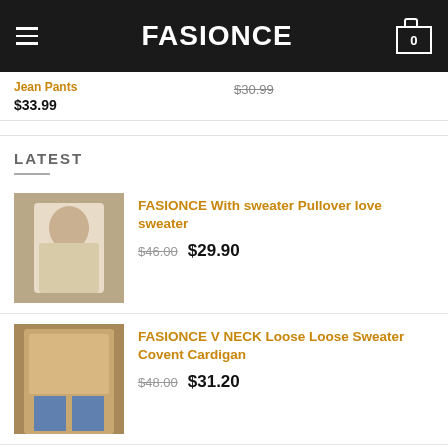FASIONCE
Jean Pants $33.99 | $30.99
LATEST
FASIONCE With sweater Pullover love sweater — $46.00 $29.90
FASIONCE V NECK Loose Loose Sweater Covent Cardigan — $48.00 $31.20
FASIONCE Two piece sexy hollow beach blouse in bikini sunscreen clothing net